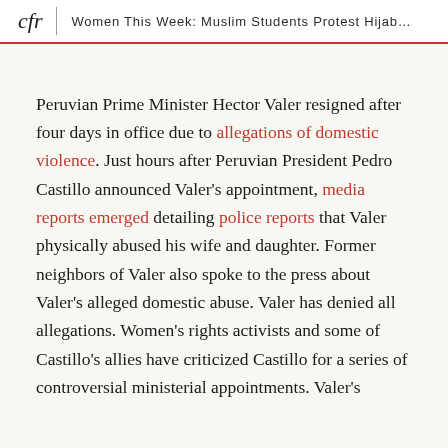cfr | Women This Week: Muslim Students Protest Hijab…
Peruvian Prime Minister Hector Valer resigned after four days in office due to allegations of domestic violence. Just hours after Peruvian President Pedro Castillo announced Valer's appointment, media reports emerged detailing police reports that Valer physically abused his wife and daughter. Former neighbors of Valer also spoke to the press about Valer's alleged domestic abuse. Valer has denied all allegations. Women's rights activists and some of Castillo's allies have criticized Castillo for a series of controversial ministerial appointments. Valer's